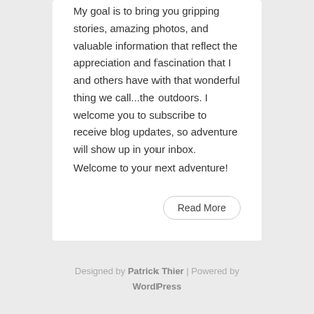My goal is to bring you gripping stories, amazing photos, and valuable information that reflect the appreciation and fascination that I and others have with that wonderful thing we call...the outdoors. I welcome you to subscribe to receive blog updates, so adventure will show up in your inbox. Welcome to your next adventure!
Read More
Designed by Patrick Thier | Powered by WordPress